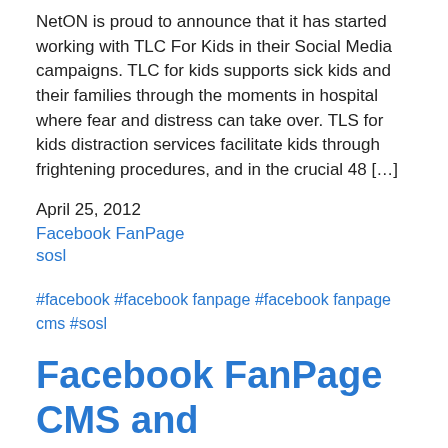NetON is proud to announce that it has started working with TLC For Kids in their Social Media campaigns. TLC for kids supports sick kids and their families through the moments in hospital where fear and distress can take over. TLS for kids distraction services facilitate kids through frightening procedures, and in the crucial 48 […]
April 25, 2012
Facebook FanPage
sosl
#facebook #facebook fanpage #facebook fanpage cms #sosl
Facebook FanPage CMS and Competitions Platform SOSL